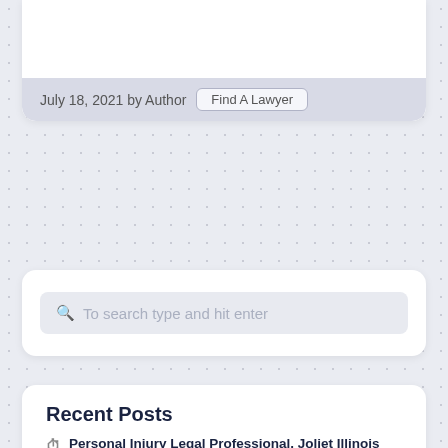July 18, 2021 by Author  Find A Lawyer
[Figure (screenshot): Search box with placeholder text 'To search type and hit enter']
Recent Posts
Personal Injury Legal Professional, Joliet Illinois